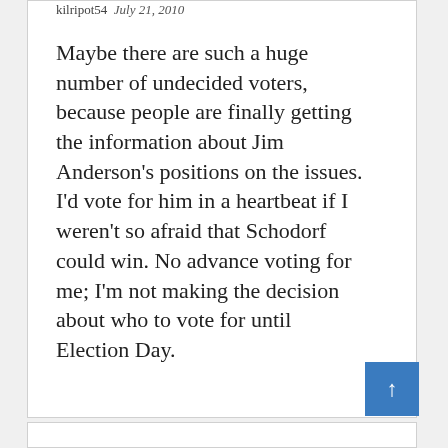kilripot54  July 21, 2010
Maybe there are such a huge number of undecided voters, because people are finally getting the information about Jim Anderson’s positions on the issues. I’d vote for him in a heartbeat if I weren’t so afraid that Schodorf could win. No advance voting for me; I’m not making the decision about who to vote for until Election Day.